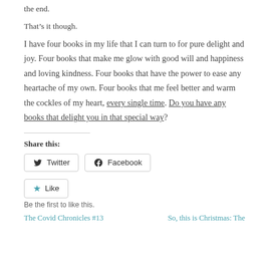the end.
That's it though.
I have four books in my life that I can turn to for pure delight and joy. Four books that make me glow with good will and happiness and loving kindness. Four books that have the power to ease any heartache of my own. Four books that me feel better and warm the cockles of my heart, every single time. Do you have any books that delight you in that special way?
Share this:
Twitter
Facebook
Like
Be the first to like this.
The Covid Chronicles #13
So, this is Christmas: The